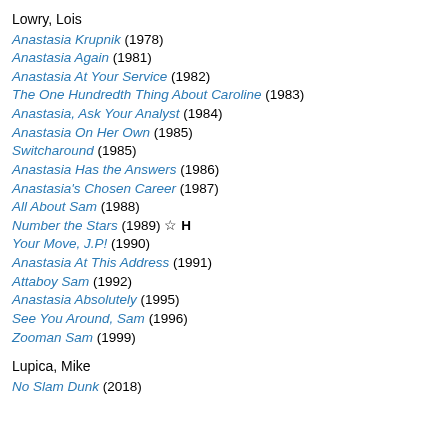Lowry, Lois
Anastasia Krupnik (1978)
Anastasia Again (1981)
Anastasia At Your Service (1982)
The One Hundredth Thing About Caroline (1983)
Anastasia, Ask Your Analyst (1984)
Anastasia On Her Own (1985)
Switcharound (1985)
Anastasia Has the Answers (1986)
Anastasia's Chosen Career (1987)
All About Sam (1988)
Number the Stars (1989) ☆ H
Your Move, J.P! (1990)
Anastasia At This Address (1991)
Attaboy Sam (1992)
Anastasia Absolutely (1995)
See You Around, Sam (1996)
Zooman Sam (1999)
Lupica, Mike
No Slam Dunk (2018)